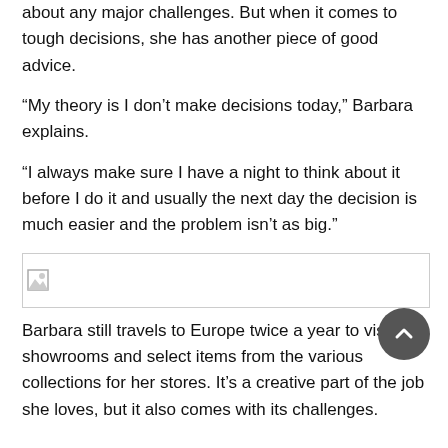about any major challenges. But when it comes to tough decisions, she has another piece of good advice.
“My theory is I don’t make decisions today,” Barbara explains.
“I always make sure I have a night to think about it before I do it and usually the next day the decision is much easier and the problem isn’t as big.”
[Figure (other): Broken/loading image placeholder with small icon in top-left corner]
Barbara still travels to Europe twice a year to visit showrooms and select items from the various collections for her stores. It’s a creative part of the job she loves, but it also comes with its challenges.